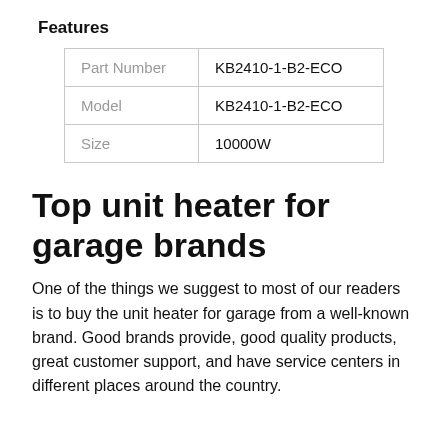Features
| Part Number | KB2410-1-B2-ECO |
| Model | KB2410-1-B2-ECO |
| Size | 10000W |
Top unit heater for garage brands
One of the things we suggest to most of our readers is to buy the unit heater for garage from a well-known brand. Good brands provide, good quality products, great customer support, and have service centers in different places around the country.